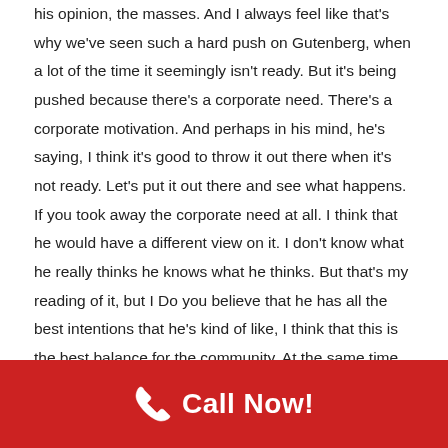his opinion, the masses. And I always feel like that's why we've seen such a hard push on Gutenberg, when a lot of the time it seemingly isn't ready. But it's being pushed because there's a corporate need. There's a corporate motivation. And perhaps in his mind, he's saying, I think it's good to throw it out there when it's not ready. Let's put it out there and see what happens. If you took away the corporate need at all. I think that he would have a different view on it. I don't know what he really thinks he knows what he thinks. But that's my reading of it, but I Do you believe that he has all the best intentions that he's kind of like, I think that this is the best balance for the community. At the same time, it does kind of remind me of kind of like a government sort of approach, like what's the best thing for the people. And there's kind of a policy drawn up of how things move forward, that lasts for a certain amount of years. And then that policy gets reviewed.
[Figure (other): Red call-to-action bar with white phone icon and bold white text reading 'Call Now!']